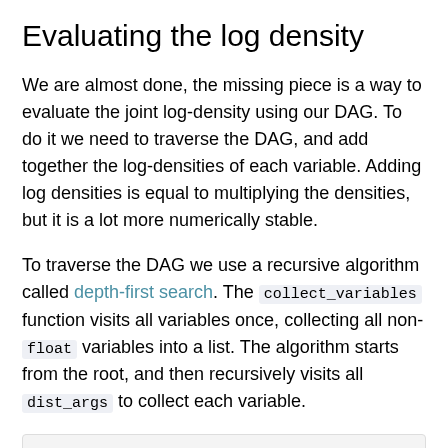Evaluating the log density
We are almost done, the missing piece is a way to evaluate the joint log-density using our DAG. To do it we need to traverse the DAG, and add together the log-densities of each variable. Adding log densities is equal to multiplying the densities, but it is a lot more numerically stable.
To traverse the DAG we use a recursive algorithm called depth-first search. The collect_variables function visits all variables once, collecting all non-float variables into a list. The algorithm starts from the root, and then recursively visits all dist_args to collect each variable.
def evaluate_log_density(variable, latent_val
    visited = set()
    variables = []